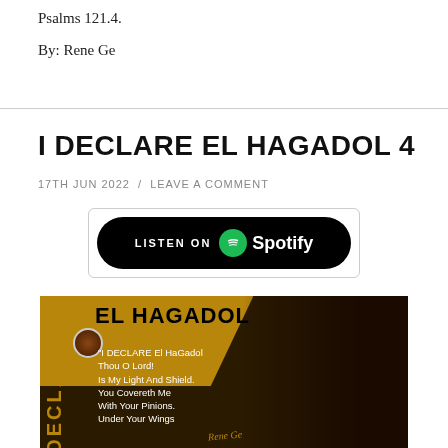Psalms 121.4.
By: Rene Ge
I DECLARE EL HAGADOL 4
17TH JUN 2022 / LEAVE A COMMENT
[Figure (screenshot): Listen on Spotify button, black rounded rectangle with Spotify logo and white text]
[Figure (photo): Album cover for I DECLARE El HaGadol by Rene Ge. Gold and dark background with text: EL HAGADOL, and quote 'I DECLARE El HaGadol Thou O Lord! Is My Light And Shield. You Covereth Me With Your Pinions. Under Your Wings'. Vertical text DECLARE on left. Portrait of woman on right.]